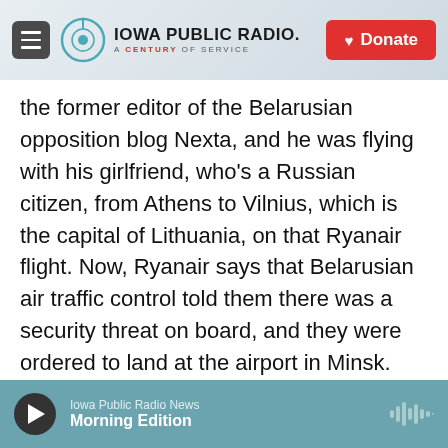Iowa Public Radio — A Century of Service | Donate
the former editor of the Belarusian opposition blog Nexta, and he was flying with his girlfriend, who's a Russian citizen, from Athens to Vilnius, which is the capital of Lithuania, on that Ryanair flight. Now, Ryanair says that Belarusian air traffic control told them there was a security threat on board, and they were ordered to land at the airport in Minsk. What's interesting is that, according to online flight trackers, the plane appears to have been almost out of Belarusian airspace. But the pilot really had no choice since the Belarusian Air Force scrambled a jet fighter to escort the plane to Minsk Airport. When they landed, the plane was searched. No
Iowa Public Radio News — Morning Edition